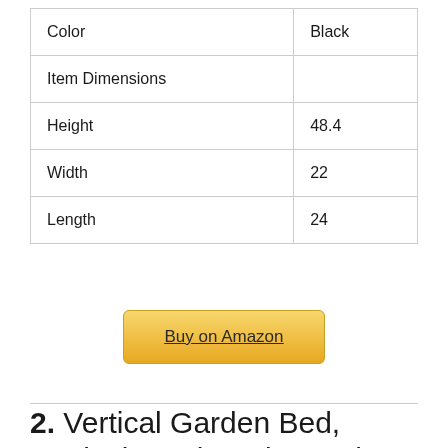| Color | Black |
| Item Dimensions |  |
| Height | 48.4 |
| Width | 22 |
| Length | 24 |
Buy on Amazon
2. Vertical Garden Bed, Vertical Garden Elevated